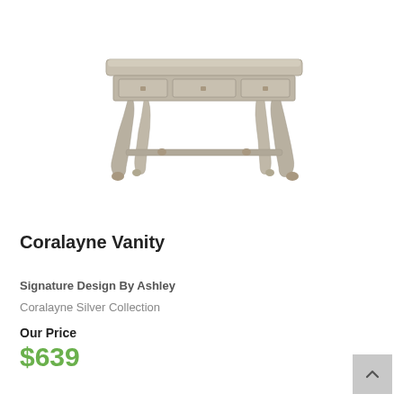[Figure (photo): A silver/champagne-colored vanity desk with three drawers, ornate cabriole legs with ball feet, and a lower stretcher rail. The finish is metallic silver with decorative hardware on the drawers.]
Coralayne Vanity
Signature Design By Ashley
Coralayne Silver Collection
Our Price
$639